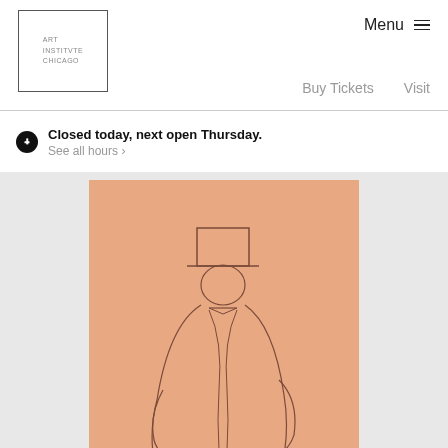ART INSTITVTE CHICAGO
Menu
Buy Tickets    Visit
Closed today, next open Thursday.
See all hours ›
[Figure (illustration): Sketch of a figure wearing a top hat, drawn in pencil on salmon/peach-colored paper. The figure appears to be a male in formal attire, seated or standing, with a top hat and bow tie visible.]